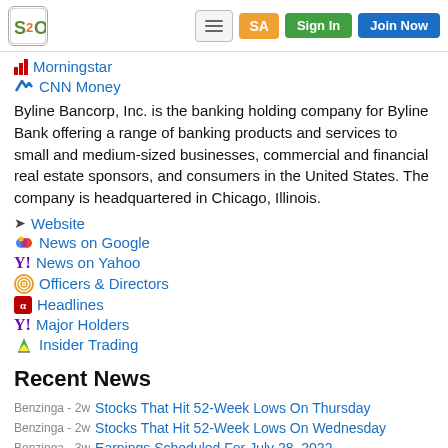S2O | SA | Sign In | Join Now
Morningstar
CNN Money
Byline Bancorp, Inc. is the banking holding company for Byline Bank offering a range of banking products and services to small and medium-sized businesses, commercial and financial real estate sponsors, and consumers in the United States. The company is headquartered in Chicago, Illinois.
Website
News on Google
News on Yahoo
Officers & Directors
Headlines
Major Holders
Insider Trading
Recent News
Benzinga - 2w  Stocks That Hit 52-Week Lows On Thursday
Benzinga - 2w  Stocks That Hit 52-Week Lows On Wednesday
Benzinga - 3w  Earnings Scheduled For July 28, 2022